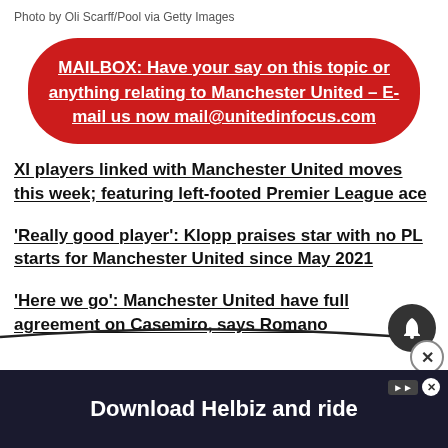Photo by Oli Scarff/Pool via Getty Images
MAILBOX: Have your say on this topic or anything relating to Manchester United – E-mail us now mail@unitedinfocus.com
XI players linked with Manchester United moves this week; featuring left-footed Premier League ace
'Really good player': Klopp praises star with no PL starts for Manchester United since May 2021
'Here we go': Manchester United have full agreement on Casemiro, says Romano
[Figure (screenshot): Download Helbiz and ride advertisement banner at bottom of page]